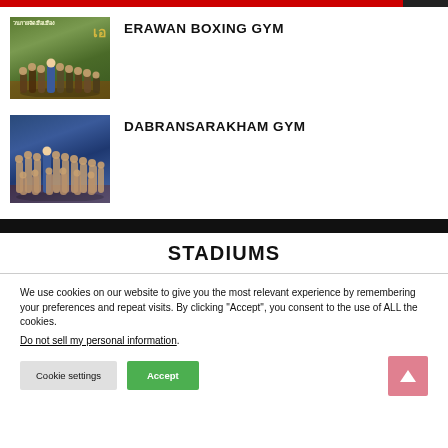[Figure (photo): Group photo of Muay Thai fighters at Erawan Boxing Gym, outdoors with lush green background]
ERAWAN BOXING GYM
[Figure (photo): Group photo of Muay Thai fighters at Dabransarakham Gym, standing together indoors/outdoors]
DABRANSARAKHAM GYM
STADIUMS
We use cookies on our website to give you the most relevant experience by remembering your preferences and repeat visits. By clicking “Accept”, you consent to the use of ALL the cookies.
Do not sell my personal information.